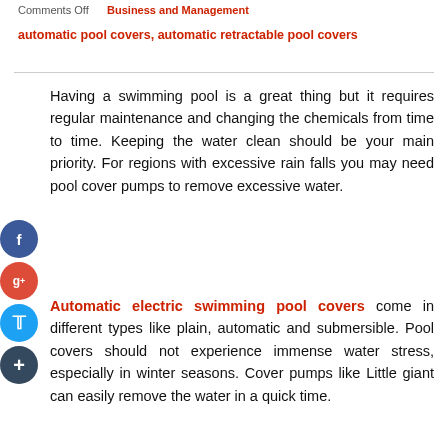Comments Off   Business and Management
automatic pool covers, automatic retractable pool covers
Having a swimming pool is a great thing but it requires regular maintenance and changing the chemicals from time to time. Keeping the water clean should be your main priority. For regions with excessive rain falls you may need pool cover pumps to remove excessive water.
Automatic electric swimming pool covers come in different types like plain, automatic and submersible. Pool covers should not experience immense water stress, especially in winter seasons. Cover pumps like Little giant can easily remove the water in a quick time.